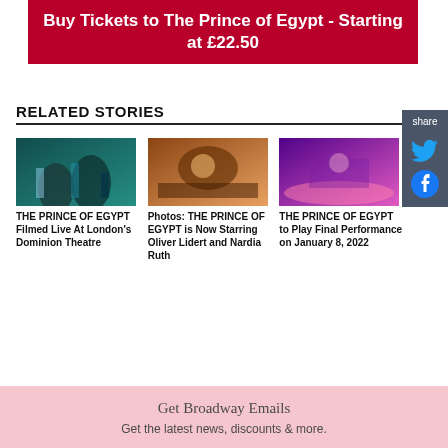Buy Tickets to The Prince of Egypt - Starting at £22.50
RELATED STORIES
[Figure (photo): Stage performance photo - THE PRINCE OF EGYPT Filmed Live At London's Dominion Theatre]
THE PRINCE OF EGYPT Filmed Live At London's Dominion Theatre
[Figure (photo): Stage performance photo - Photos: THE PRINCE OF EGYPT is Now Starring Oliver Lidert and Nardia Ruth]
Photos: THE PRINCE OF EGYPT is Now Starring Oliver Lidert and Nardia Ruth
[Figure (photo): Stage performance photo - THE PRINCE OF EGYPT to Play Final Performance on January 8, 2022]
THE PRINCE OF EGYPT to Play Final Performance on January 8, 2022
Get Broadway Emails
Get the latest news, discounts & more.